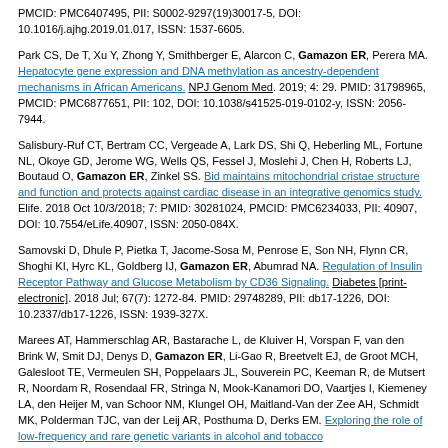PMCID: PMC6407495, PII: S0002-9297(19)30017-5, DOI: 10.1016/j.ajhg.2019.01.017, ISSN: 1537-6605.
Park CS, De T, Xu Y, Zhong Y, Smithberger E, Alarcon C, Gamazon ER, Perera MA. Hepatocyte gene expression and DNA methylation as ancestry-dependent mechanisms in African Americans. NPJ Genom Med. 2019; 4: 29. PMID: 31798965, PMCID: PMC6877651, PII: 102, DOI: 10.1038/s41525-019-0102-y, ISSN: 2056-7944.
Salisbury-Ruf CT, Bertram CC, Vergeade A, Lark DS, Shi Q, Heberling ML, Fortune NL, Okoye GD, Jerome WG, Wells QS, Fessel J, Moslehi J, Chen H, Roberts LJ, Boutaud O, Gamazon ER, Zinkel SS. Bid maintains mitochondrial cristae structure and function and protects against cardiac disease in an integrative genomics study. Elife. 2018 Oct 10/3/2018; 7: PMID: 30281024, PMCID: PMC6234033, PII: 40907, DOI: 10.7554/eLife.40907, ISSN: 2050-084X.
Samovski D, Dhule P, Pietka T, Jacome-Sosa M, Penrose E, Son NH, Flynn CR, Shoghi KI, Hyrc KL, Goldberg IJ, Gamazon ER, Abumrad NA. Regulation of Insulin Receptor Pathway and Glucose Metabolism by CD36 Signaling. Diabetes [print-electronic]. 2018 Jul; 67(7): 1272-84. PMID: 29748289, PII: db17-1226, DOI: 10.2337/db17-1226, ISSN: 1939-327X.
Marees AT, Hammerschlag AR, Bastarache L, de Kluiver H, Vorspan F, van den Brink W, Smit DJ, Denys D, Gamazon ER, Li-Gao R, Breetvelt EJ, de Groot MCH, Galesloot TE, Vermeulen SH, Poppelaars JL, Souverein PC, Keeman R, de Mutsert R, Noordam R, Rosendaal FR, Stringa N, Mook-Kanamori DO, Vaartjes I, Kiemeney LA, den Heijer M, van Schoor NM, Klungel OH, Maitland-Van der Zee AH, Schmidt MK, Polderman TJC, van der Leij AR, Posthuma D, Derks EM. Exploring the role of low-frequency and rare genetic variants in alcohol and tobacco...